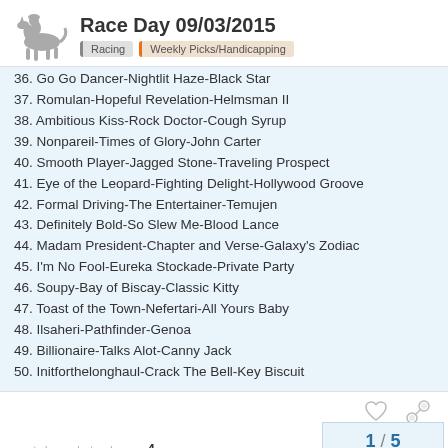Race Day 09/03/2015 | Racing | Weekly Picks/Handicapping
36. Go Go Dancer-Nightlit Haze-Black Star
37. Romulan-Hopeful Revelation-Helmsman II
38. Ambitious Kiss-Rock Doctor-Cough Syrup
39. Nonpareil-Times of Glory-John Carter
40. Smooth Player-Jagged Stone-Traveling Prospect
41. Eye of the Leopard-Fighting Delight-Hollywood Groove
42. Formal Driving-The Entertainer-Temujen
43. Definitely Bold-So Slew Me-Blood Lance
44. Madam President-Chapter and Verse-Galaxy's Zodiac
45. I'm No Fool-Eureka Stockade-Private Party
46. Soupy-Bay of Biscay-Classic Kitty
47. Toast of the Town-Nefertari-All Yours Baby
48. Ilsaheri-Pathfinder-Genoa
49. Billionaire-Talks Alot-Canny Jack
50. Initforthelonghaul-Crack The Bell-Key Biscuit
created  last reply  4  1 / 5